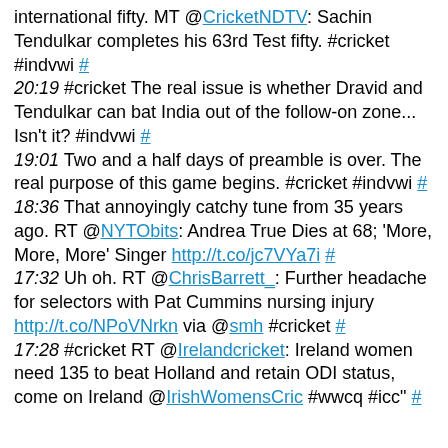international fifty. MT @CricketNDTV: Sachin Tendulkar completes his 63rd Test fifty. #cricket #indvwi #
20:19 #cricket The real issue is whether Dravid and Tendulkar can bat India out of the follow-on zone... Isn't it? #indvwi #
19:01 Two and a half days of preamble is over. The real purpose of this game begins. #cricket #indvwi #
18:36 That annoyingly catchy tune from 35 years ago. RT @NYTObits: Andrea True Dies at 68; 'More, More, More' Singer http://t.co/jc7VYa7i #
17:32 Uh oh. RT @ChrisBarrett_: Further headache for selectors with Pat Cummins nursing injury http://t.co/NPoVNrkn via @smh #cricket #
17:28 #cricket RT @Irelandcricket: Ireland women need 135 to beat Holland and retain ODI status, come on Ireland @IrishWomensCric #wwcq #icc" #